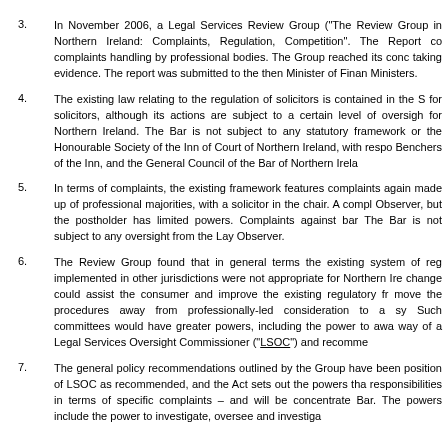3. In November 2006, a Legal Services Review Group ("The Review Group") in Northern Ireland: Complaints, Regulation, Competition". The Report covered complaints handling by professional bodies. The Group reached its conclusions after taking evidence. The report was submitted to the then Minister of Finance and Ministers.
4. The existing law relating to the regulation of solicitors is contained in the S for solicitors, although its actions are subject to a certain level of oversight for Northern Ireland. The Bar is not subject to any statutory framework or the Honourable Society of the Inn of Court of Northern Ireland, with respect Benchers of the Inn, and the General Council of the Bar of Northern Ireland.
5. In terms of complaints, the existing framework features complaints against made up of professional majorities, with a solicitor in the chair. A complaint Observer, but the postholder has limited powers. Complaints against barristers. The Bar is not subject to any oversight from the Lay Observer.
6. The Review Group found that in general terms the existing system of regulation implemented in other jurisdictions were not appropriate for Northern Ireland, change could assist the consumer and improve the existing regulatory framework, move the procedures away from professionally-led consideration to a system. Such committees would have greater powers, including the power to award, way of a Legal Services Oversight Commissioner (“LSOC”) and recommendations.
7. The general policy recommendations outlined by the Group have been position of LSOC as recommended, and the Act sets out the powers that responsibilities in terms of specific complaints – and will be concentrated Bar. The powers include the power to investigate, oversee and investigate.